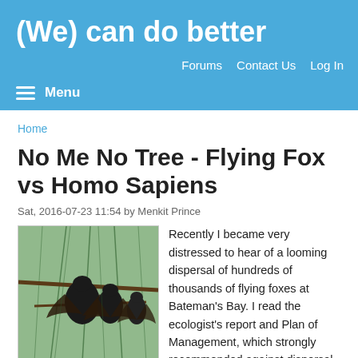(We) can do better
Forums  Contact Us  Log In
Menu
Home
No Me No Tree - Flying Fox vs Homo Sapiens
Sat, 2016-07-23 11:54 by Menkit Prince
[Figure (photo): Flying foxes (bats) hanging from tree branches with pine-like foliage visible in the background.]
Recently I became very distressed to hear of a looming dispersal of hundreds of thousands of flying foxes at Bateman's Bay. I read the ecologist's report and Plan of Management, which strongly recommended against dispersal, then wrote a submission (on behalf of the Threatened Species